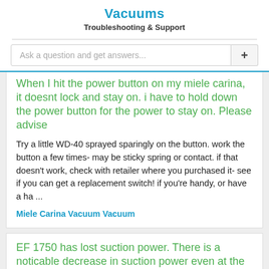Vacuums
Troubleshooting & Support
Ask a question and get answers...
When I hit the power button on my miele carina, it doesnt lock and stay on. i have to hold down the power button for the power to stay on. Please advise
Try a little WD-40 sprayed sparingly on the button. work the button a few times- may be sticky spring or contact. if that doesn't work, check with retailer where you purchased it- see if you can get a replacement switch! if you're handy, or have a ha ...
Miele Carina Vacuum Vacuum
EF 1750 has lost suction power. There is a noticable decrease in suction power even at the power unit inlet.
Disconnect the actual pipe where it meets the vac. Then test the intake for suction. If you have poor